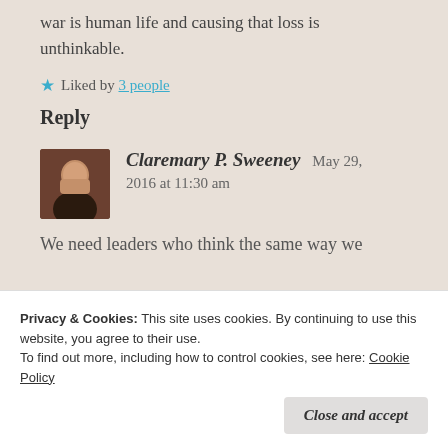war is human life and causing that loss is unthinkable.
Liked by 3 people
Reply
Claremary P. Sweeney   May 29, 2016 at 11:30 am
We need leaders who think the same way we
Privacy & Cookies: This site uses cookies. By continuing to use this website, you agree to their use.
To find out more, including how to control cookies, see here: Cookie Policy
Close and accept
Liked by 2 people